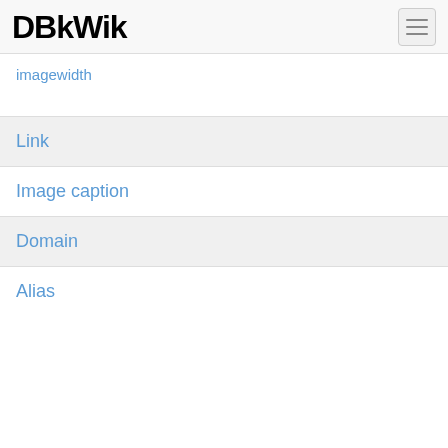DBkWik
imagewidth
Link
Image caption
Domain
Alias